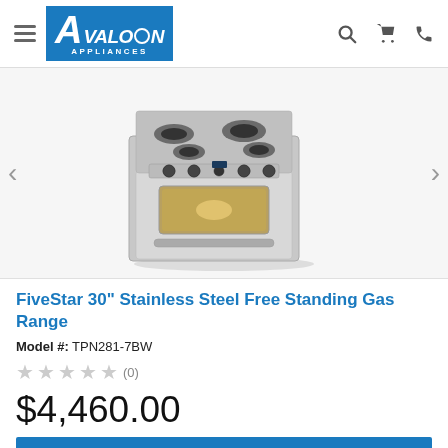Avalon Appliances — navigation header with menu, logo, search, cart, phone icons
[Figure (photo): FiveStar 30-inch stainless steel free standing gas range product photo showing cooktop with burners and oven door with window, on white background]
FiveStar 30" Stainless Steel Free Standing Gas Range
Model #: TPN281-7BW
★★★★★ (0)
$4,460.00